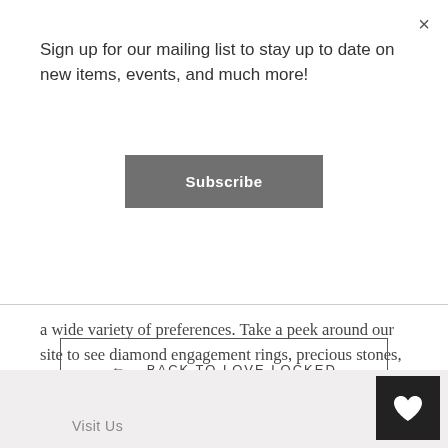×
Sign up for our mailing list to stay up to date on new items, events, and much more!
Subscribe
a wide variety of preferences. Take a peek around our site to see diamond engagement rings, precious stones, and more.
← BACK TO LOVE LOCKED
Visit Us